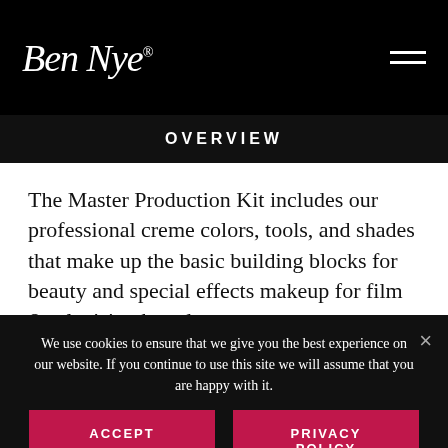Ben Nye®
OVERVIEW
The Master Production Kit includes our professional creme colors, tools, and shades that make up the basic building blocks for beauty and special effects makeup for film & television broadcast.
We use cookies to ensure that we give you the best experience on our website. If you continue to use this site we will assume that you are happy with it.
ACCEPT
PRIVACY POLICY